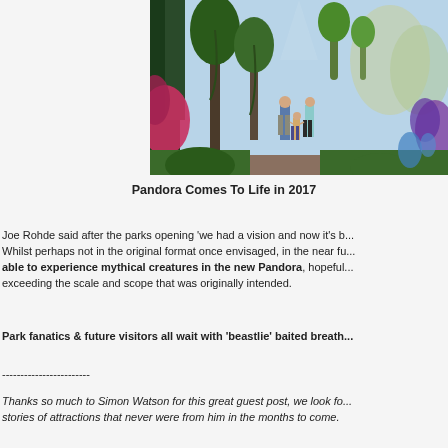[Figure (photo): A family of three walking along a lush forest path in Pandora, the Avatar-themed land, with exotic glowing plants and tall trees on either side.]
Pandora Comes To Life in 2017
Joe Rohde said after the parks opening 'we had a vision and now it's b... Whilst perhaps not in the original format once envisaged, in the near fu... able to experience mythical creatures in the new Pandora, hopeful... exceeding the scale and scope that was originally intended.
Park fanatics & future visitors all wait with 'beastlie' baited breath
------------------------
Thanks so much to Simon Watson for this great guest post, we look fo... stories of attractions that never were from him in the months to come.